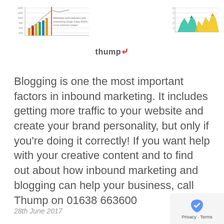[Figure (other): Two small chart thumbnails at the top of the page — a bar/line chart on the left with colored bars and a red vertical line and small annotation text, and a mountain/area chart on the right in teal and yellow.]
[Figure (logo): Thump company logo with swoosh accent in red.]
Blogging is one the most important factors in inbound marketing. It includes getting more traffic to your website and create your brand personality, but only if you’re doing it correctly! If you want help with your creative content and to find out about how inbound marketing and blogging can help your business, call Thump on 01638 663600
28th June 2017    by Thump